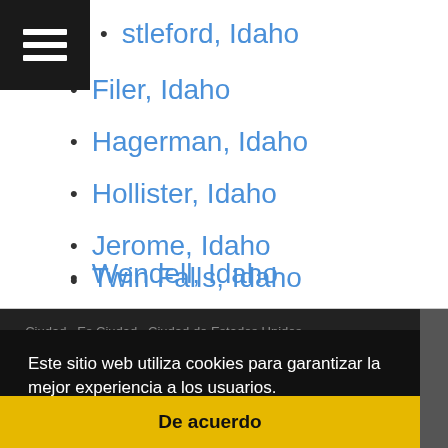Castleford, Idaho
Filer, Idaho
Hagerman, Idaho
Hollister, Idaho
Jerome, Idaho
Twin Falls, Idaho
Wendell, Idaho
Este sitio web utiliza cookies para garantizar la mejor experiencia a los usuarios.
Más información   Contact at ciudad[@]esciudad.com
This article is licensed under the GNU Free Documentation License.
De acuerdo